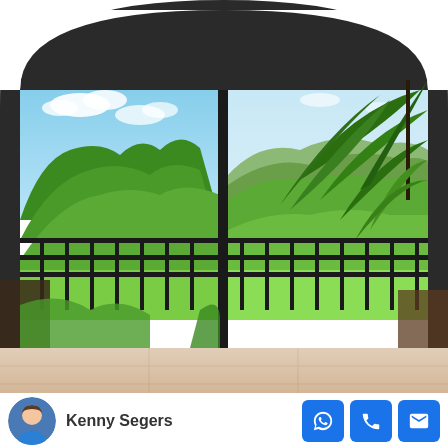[Figure (photo): View from a balcony through an arched opening showing tropical jungle landscape with green trees, palm fronds, mountains in the background, and blue sky with clouds. Black metal railing in the foreground, dark window frame dividing the view.]
[Figure (photo): Partial view of an interior room with beige/tan tile floor visible at the bottom of the image.]
Kenny Segers